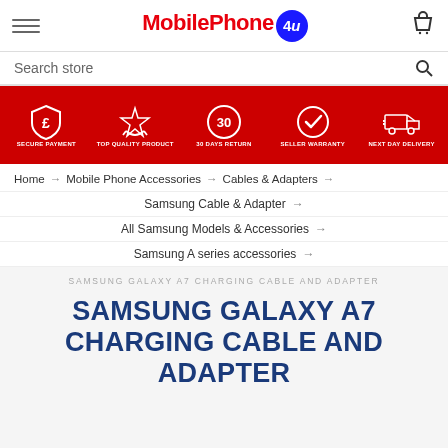MobilePhone 4u
Search store
[Figure (infographic): Red banner with 5 icons: Secure Payment (pound/shield icon), Top Quality Product (star/hand icon), 30 Days Return (circle with 30), Seller Warranty (gear/checkmark icon), Next Day Delivery (delivery truck icon)]
Home → Mobile Phone Accessories → Cables & Adapters →
Samsung Cable & Adapter →
All Samsung Models & Accessories →
Samsung A series accessories →
SAMSUNG GALAXY A7 CHARGING CABLE AND ADAPTER
SAMSUNG GALAXY A7 CHARGING CABLE AND ADAPTER